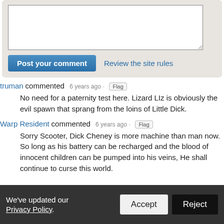[Figure (screenshot): Comment form area with textarea and Post your comment button and Review the site rules link]
truman commented 6 years ago · Flag
No need for a paternity test here. Lizard LIz is obviously the evil spawn that sprang from the loins of Little Dick.
Warp Resident commented 6 years ago · Flag
Sorry Scooter, Dick Cheney is more machine than man now. So long as his battery can be recharged and the blood of innocent children can be pumped into his veins, He shall continue to curse this world.
We've updated our Privacy Policy. Accept Reject